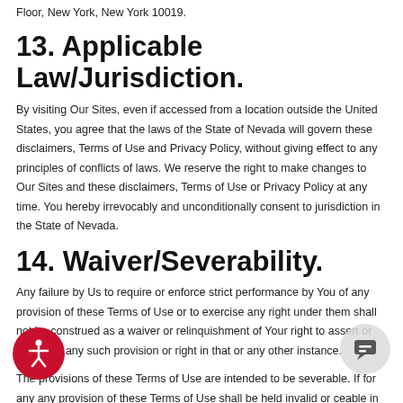Floor, New York, New York 10019.
13. Applicable Law/Jurisdiction.
By visiting Our Sites, even if accessed from a location outside the United States, you agree that the laws of the State of Nevada will govern these disclaimers, Terms of Use and Privacy Policy, without giving effect to any principles of conflicts of laws. We reserve the right to make changes to Our Sites and these disclaimers, Terms of Use or Privacy Policy at any time. You hereby irrevocably and unconditionally consent to jurisdiction in the State of Nevada.
14. Waiver/Severability.
Any failure by Us to require or enforce strict performance by You of any provision of these Terms of Use or to exercise any right under them shall not be construed as a waiver or relinquishment of Your right to assert or rely upon any such provision or right in that or any other instance.
The provisions of these Terms of Use are intended to be severable. If for any any provision of these Terms of Use shall be held invalid or ceable in whole or in part by any court of competent jurisdiction, such provision shall, as to such jurisdiction, be ineffective to the extent of such